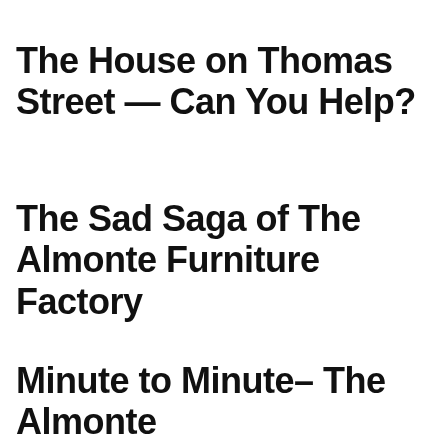The House on Thomas Street — Can You Help?
The Sad Saga of The Almonte Furniture Factory
Minute to Minute– The Almonte